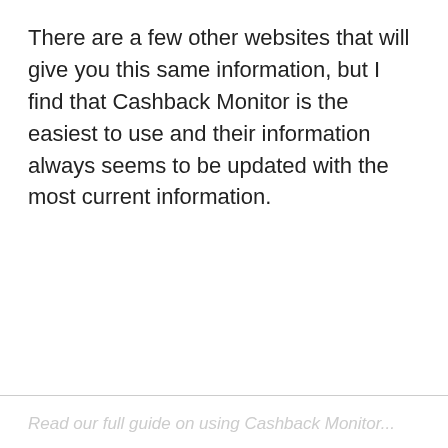There are a few other websites that will give you this same information, but I find that Cashback Monitor is the easiest to use and their information always seems to be updated with the most current information.
Read our full guide on using Cashback Monitor...